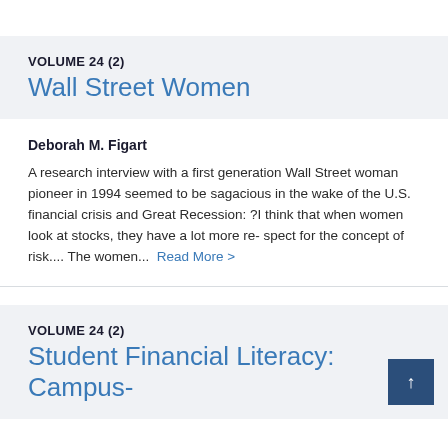VOLUME 24 (2)
Wall Street Women
Deborah M. Figart
A research interview with a first generation Wall Street woman pioneer in 1994 seemed to be sagacious in the wake of the U.S. financial crisis and Great Recession: ?I think that when women look at stocks, they have a lot more re- spect for the concept of risk.... The women...  Read More >
VOLUME 24 (2)
Student Financial Literacy: Campus-